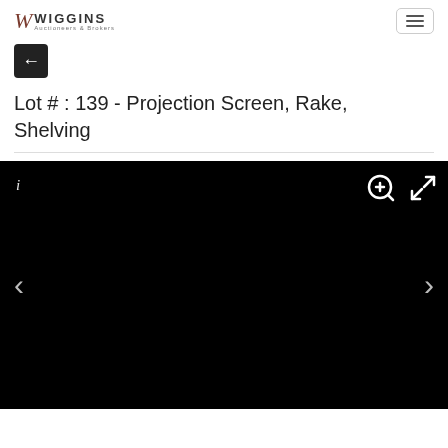Wiggins Auctioneers & Brokers
Lot # : 139 - Projection Screen, Rake, Shelving
[Figure (photo): Black image viewer area with navigation controls: info icon (i) top-left, zoom-in icon top-right, expand icon top-right, left and right navigation arrows on sides]